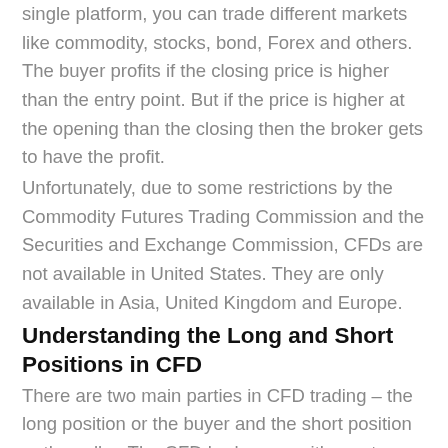single platform, you can trade different markets like commodity, stocks, bond, Forex and others. The buyer profits if the closing price is higher than the entry point. But if the price is higher at the opening than the closing then the broker gets to have the profit.
Unfortunately, due to some restrictions by the Commodity Futures Trading Commission and the Securities and Exchange Commission, CFDs are not available in United States. They are only available in Asia, United Kingdom and Europe.
Understanding the Long and Short Positions in CFD
There are two main parties in CFD trading – the long position or the buyer and the short position or the seller. The CFD broker can either act as the seller or the buyer. It is important to note that CFDs are very different from futures